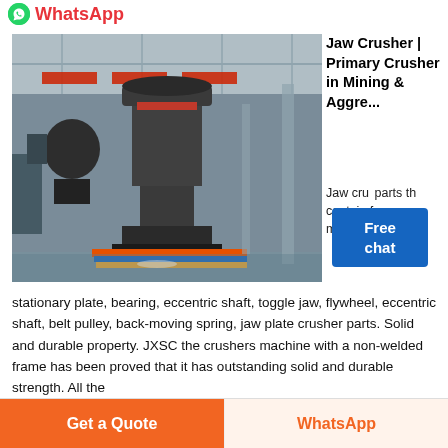WhatsApp
[Figure (photo): Industrial machinery inside a factory building — large cone crusher and other mining equipment on display floor with red banners and steel roof structure visible]
Jaw Crusher | Primary Crusher in Mining & Aggre...
Jaw cru... parts th... contain frame, movable and stationary plate, bearing, eccentric shaft, toggle jaw, flywheel, eccentric shaft, belt pulley, back-moving spring, jaw plate crusher parts. Solid and durable property. JXSC the crushers machine with a non-welded frame has been proved that it has outstanding solid and durable strength. All the
Get a Quote   WhatsApp